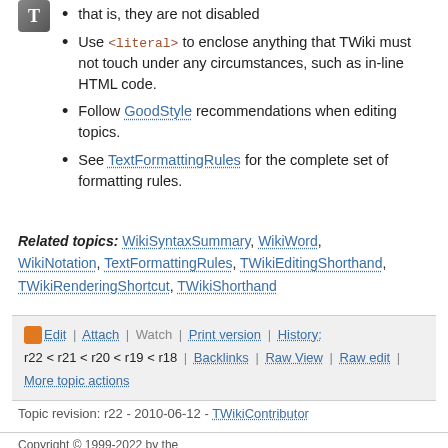that is, they are not disabled
Use <literal> to enclose anything that TWiki must not touch under any circumstances, such as in-line HTML code.
Follow GoodStyle recommendations when editing topics.
See TextFormattingRules for the complete set of formatting rules.
Related topics: WikiSyntaxSummary, WikiWord, WikiNotation, TextFormattingRules, TWikiEditingShorthand, TWikiRenderingShortcut, TWikiShorthand
Edit | Attach | Watch | Print version | History: r22 < r21 < r20 < r19 < r18 | Backlinks | Raw View | Raw edit | More topic actions
Topic revision: r22 - 2010-06-12 - TWikiContributor
Copyright © 1999-2022 by the contributing authors. All material on